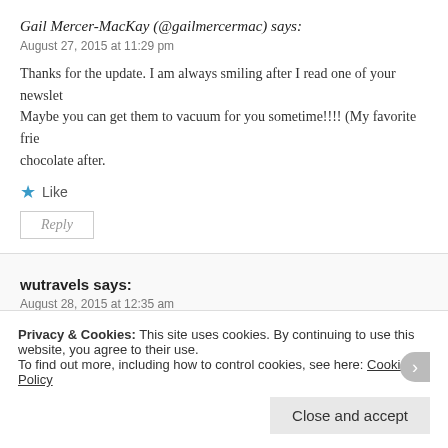Gail Mercer-MacKay (@gailmercermac) says:
August 27, 2015 at 11:29 pm
Thanks for the update. I am always smiling after I read one of your newslet… Maybe you can get them to vacuum for you sometime!!!! (My favorite frie… chocolate after.
Like
Reply
wutravels says:
August 28, 2015 at 12:35 am
Your energy amazes me. You are amazing.
Privacy & Cookies: This site uses cookies. By continuing to use this website, you agree to their use. To find out more, including how to control cookies, see here: Cookie Policy
Close and accept